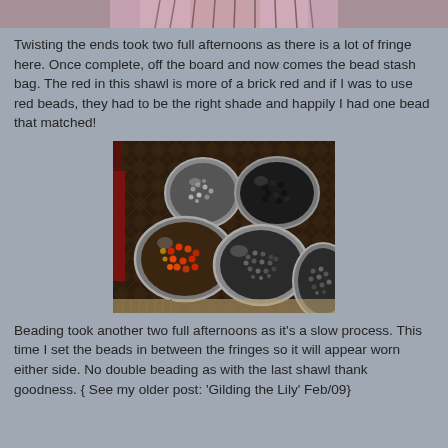[Figure (photo): Partial top photo of a shawl or textile with fringe, cropped at top]
Twisting the ends took two full afternoons as there is a lot of fringe here. Once complete, off the board and now comes the bead stash bag. The red in this shawl is more of a brick red and if I was to use red beads, they had to be the right shade and happily I had one bead that matched!
[Figure (photo): Photo of five glass bowls containing different types and colors of beads — red/orange beads, black beads, silver/dark metallic beads — arranged on a patterned textile background]
Beading took another two full afternoons as it's a slow process. This time I set the beads in between the fringes so it will appear worn either side. No double beading as with the last shawl thank goodness. { See my older post: 'Gilding the Lily' Feb/09}